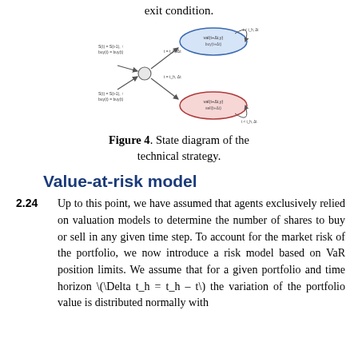exit condition.
[Figure (flowchart): State diagram of the technical strategy showing nodes connected by arrows, with a blue ellipse node at top right and a red ellipse node at bottom right, connected through intermediate states with labeled transitions.]
Figure 4. State diagram of the technical strategy.
Value-at-risk model
2.24   Up to this point, we have assumed that agents exclusively relied on valuation models to determine the number of shares to buy or sell in any given time step. To account for the market risk of the portfolio, we now introduce a risk model based on VaR position limits. We assume that for a given portfolio and time horizon \(\Delta t_h = t_h – t\) the variation of the portfolio value is distributed normally with